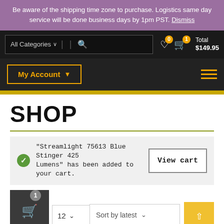Be aware of the shipping time zone to purchase. Logistics same day service will be done business days by 1pm PST. Dismiss
All Categories | [search] | ♡ 0 | 🛒 1 | Total $149.95
My Account ▾ [hamburger menu]
SHOP
"Streamlight 75613 Blue Stinger 425 Lumens" has been added to your cart.
View cart
12 ∨ [grid view] [list view] Sort by latest ∨